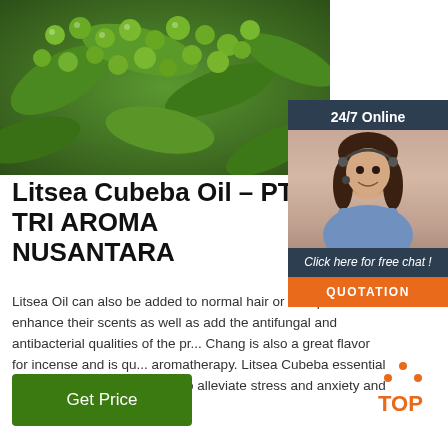[Figure (photo): Photo of Litsea Cubeba plant with green round fruits and leaves]
[Figure (infographic): 24/7 Online chat widget with customer service agent photo, 'Click here for free chat!' text, and orange QUOTATION button]
Litsea Cubeba Oil – PT. TRI AROMA NUSANTARA
Litsea Oil can also be added to normal hair or skin products to enhance their scents as well as add the antifungal and antibacterial qualities of the pr... Chang is also a great flavor for incense and is qu... aromatherapy. Litsea Cubeba essential oil can be used aromatically to alleviate stress and anxiety and ...
Get Price
[Figure (logo): Orange TOP icon with upward arrow dots and TOP text]